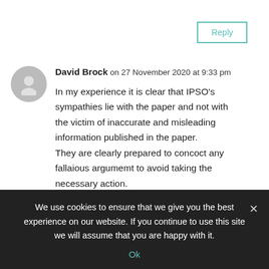Reply
David Brock on 27 November 2020 at 9:33 pm
In my experience it is clear that IPSO’s sympathies lie with the paper and not with the victim of inaccurate and misleading information published in the paper. They are clearly prepared to concoct any fallaious argumemt to avoid taking the necessary action. They require a radical overhaul
We use cookies to ensure that we give you the best experience on our website. If you continue to use this site we will assume that you are happy with it.
Ok